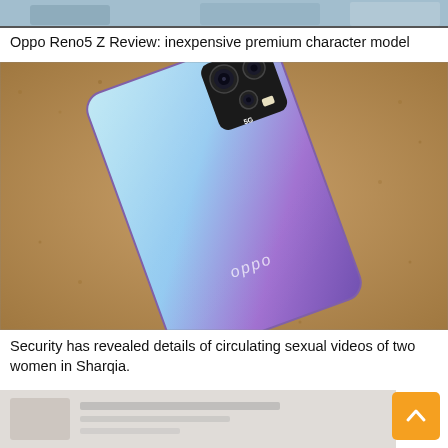[Figure (photo): Top portion of a scenic outdoor photo, partially cropped]
Oppo Reno5 Z Review: inexpensive premium character model
[Figure (photo): Oppo Reno5 Z smartphone rear view showing gradient blue-purple color and camera module, placed on cork/cardboard surface]
Security has revealed details of circulating sexual videos of two women in Sharqia.
[Figure (photo): Bottom partial image, appears to be another article thumbnail]
[Figure (other): Orange scroll-to-top button with upward chevron arrow]